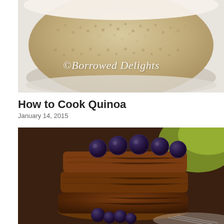[Figure (photo): A white bowl filled with cooked quinoa grains, with a watermark reading '© Borrowed Delights' in italic script]
How to Cook Quinoa
January 14, 2015
[Figure (photo): A stack of dark brown pancakes topped with blueberries, with more blueberries around the base, served on a plate with a fork visible]